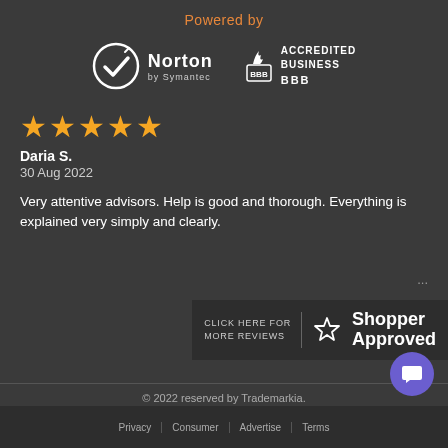Powered by
[Figure (logo): Norton by Symantec logo and BBB Accredited Business logo side by side on dark background]
★★★★★
Daria S.
30 Aug 2022
Very attentive advisors. Help is good and thorough. Everything is explained very simply and clearly.
[Figure (logo): Click Here For More Reviews | Shopper Approved logo]
© 2022 reserved by Trademarkia.